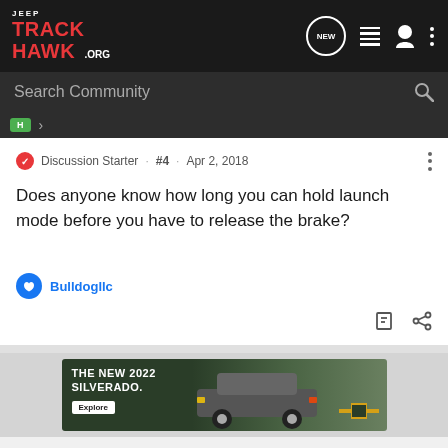JEEP TRACKHAWK.ORG
Search Community
Discussion Starter · #4 · Apr 2, 2018
Does anyone know how long you can hold launch mode before you have to release the brake?
Bulldogllc
[Figure (photo): Advertisement for The New 2022 Silverado by Chevrolet with an Explore button]
THE NEW 2022 SILVERADO. Explore — CHEVROLET